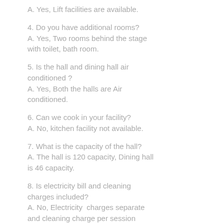A. Yes, Lift facilities are available.
4. Do you have additional rooms?
A. Yes, Two rooms behind the stage with toilet, bath room.
5. Is the hall and dining hall air conditioned ?
A. Yes, Both the halls are Air conditioned.
6. Can we cook in your facility?
A. No, kitchen facility not available.
7. What is the capacity of the hall?
A. The hall is 120 capacity, Dining hall is 46 capacity.
8. Is electricity bill and cleaning charges included?
A. No, Electricity  charges separate and cleaning charge per session
Rs.500.